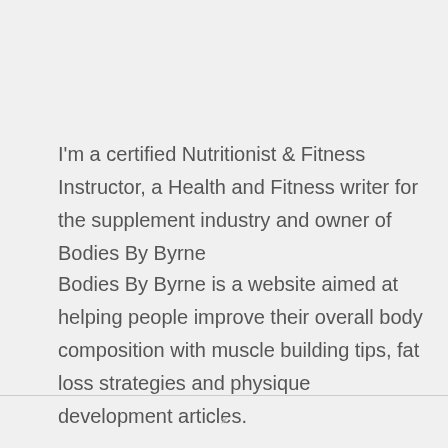I'm a certified Nutritionist & Fitness Instructor, a Health and Fitness writer for the supplement industry and owner of Bodies By Byrne
Bodies By Byrne is a website aimed at helping people improve their overall body composition with muscle building tips, fat loss strategies and physique development articles.
×